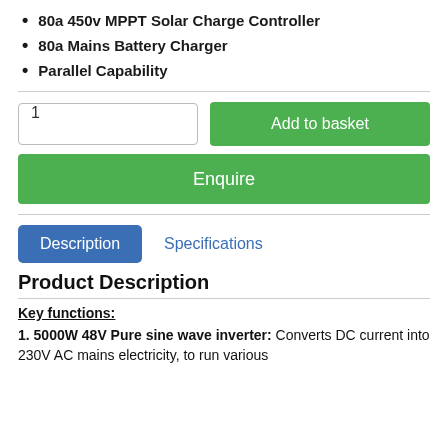80a 450v MPPT Solar Charge Controller
80a Mains Battery Charger
Parallel Capability
[Figure (other): Quantity input field showing '1' and Add to basket green button]
[Figure (other): Enquire green button]
[Figure (other): Tab navigation: Description (active, blue) and Specifications (inactive, blue text)]
Product Description
Key functions:
1. 5000W 48V Pure sine wave inverter: Converts DC current into 230V AC mains electricity, to run various